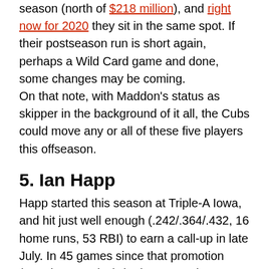season (north of $218 million), and right now for 2020 they sit in the same spot. If their postseason run is short again, perhaps a Wild Card game and done, some changes may be coming.
On that note, with Maddon's status as skipper in the background of it all, the Cubs could move any or all of these five players this offseason.
5. Ian Happ
Happ started this season at Triple-A Iowa, and hit just well enough (.242/.364/.432, 16 home runs, 53 RBI) to earn a call-up in late July. In 45 games since that promotion (entering Monday), he has posted a .215/.298/.430 slashline with six home runs and 18 RBI while being used at multiple positions (outfield, second base, first base and third base).